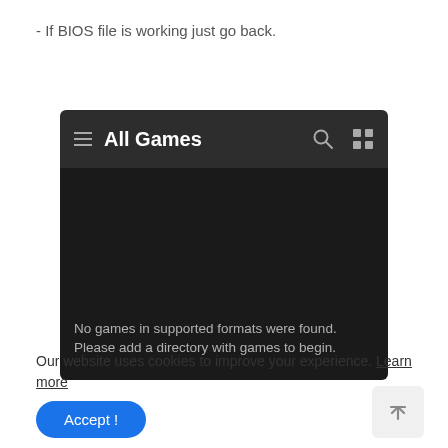- If BIOS file is working just go back.
[Figure (screenshot): App screenshot showing 'All Games' screen with hamburger menu, search and grid icons in dark header. Body shows black area with text: No games in supported formats were found. Please add a directory with games to begin.]
Our website uses cookies to improve your experience. Learn more
Accept !